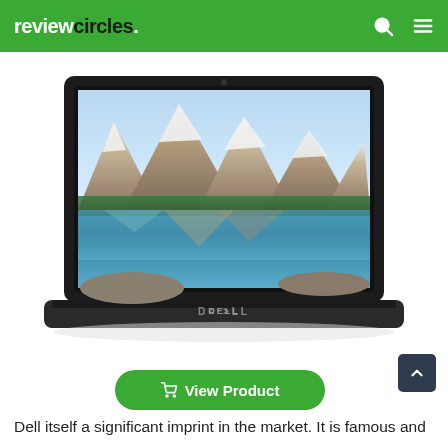reviewcircles.
[Figure (photo): A Dell laptop open at roughly 135 degrees, displaying a mountain lake landscape wallpaper (Moraine Lake style), photographed straight-on against a white background.]
View Product
Dell itself a significant imprint in the market. It is famous and